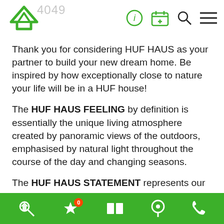HUF HAUS logo and navigation icons
Thank you for considering HUF HAUS as your partner to build your new dream home. Be inspired by how exceptionally close to nature your life will be in a HUF house!
The HUF HAUS FEELING by definition is essentially the unique living atmosphere created by panoramic views of the outdoors, emphasised by natural light throughout the course of the day and changing seasons.
The HUF HAUS STATEMENT represents our uncompromising demand for quality and is
Bottom navigation bar with home search, favourites (0), map, location, phone icons